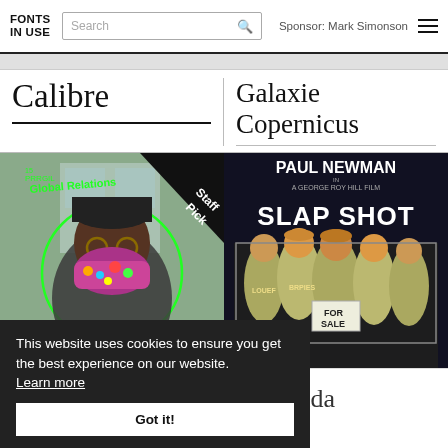FONTS IN USE | Search | Sponsor: Mark Simonson
Calibre
Galaxie Copernicus
[Figure (photo): Photo of person wearing colorful mask with green circle overlay and 'Global Relations' text, Staff Pick badge in corner]
[Figure (photo): Movie poster for 'Slap Shot' featuring Paul Newman, showing hockey players with a 'For Sale' sign]
pha
ne Ronda
This website uses cookies to ensure you get the best experience on our website. Learn more
Got it!